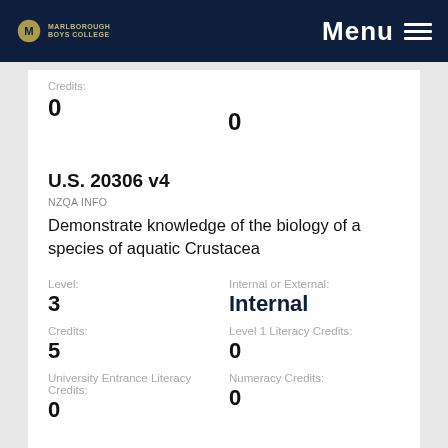Marlborough Boys College | Menu
Credits:
0
U.S. 20306 v4
NZQA Info
Demonstrate knowledge of the biology of a species of aquatic Crustacea
Level:
3
Internal or External:
Internal
Credits:
5
Level 1 Literacy Credits:
0
University Entrance Literacy Credits:
0
Numeracy Credits:
0